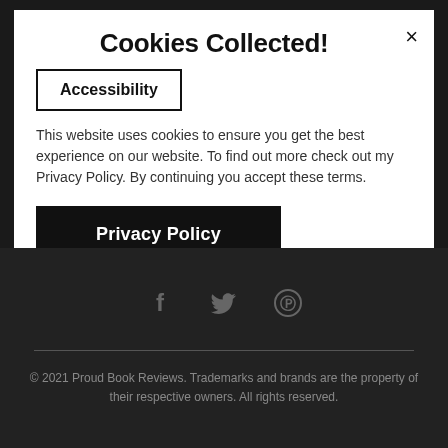Cookies Collected!
Accessibility
This website uses cookies to ensure you get the best experience on our website. To find out more check out my Privacy Policy. By continuing you accept these terms.
Privacy Policy
[Figure (other): Social media icons: Facebook, Twitter, Pinterest on dark background]
© 2021 Proud Book Reviews. Trademarks and brands are the property of their respective owners. All rights reserved.